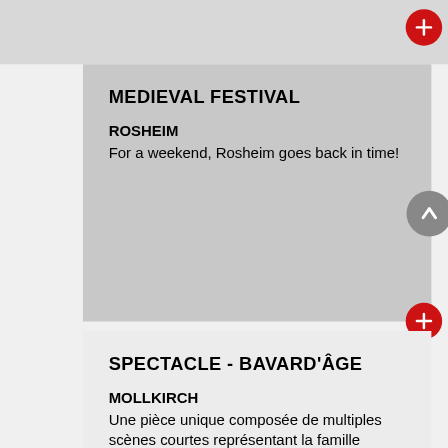[Figure (screenshot): Top gray bar area, partial card visible]
MEDIEVAL FESTIVAL
ROSHEIM
For a weekend, Rosheim goes back in time!
SPECTACLE - BAVARD'ÂGE
MOLLKIRCH
Une pièce unique composée de multiples scènes courtes représentant la famille